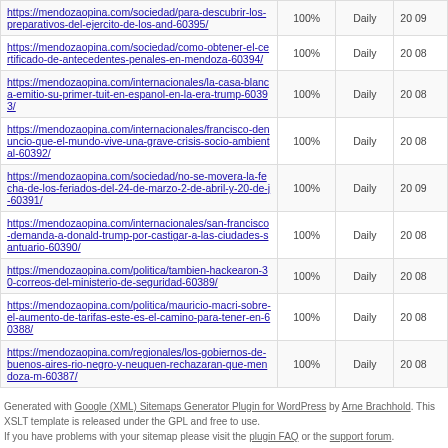| URL | Priority | Change Freq | Last Modified |
| --- | --- | --- | --- |
| https://mendozaopina.com/sociedad/para-descubrir-los-preparativos-del-ejercito-de-los-and-60395/ | 100% | Daily | 20 09 |
| https://mendozaopina.com/sociedad/como-obtener-el-certificado-de-antecedentes-penales-en-mendoza-60394/ | 100% | Daily | 20 08 |
| https://mendozaopina.com/internacionales/la-casa-blanca-emitio-su-primer-tuit-en-espanol-en-la-era-trump-60393/ | 100% | Daily | 20 08 |
| https://mendozaopina.com/internacionales/francisco-denuncio-que-el-mundo-vive-una-grave-crisis-socio-ambiental-60392/ | 100% | Daily | 20 08 |
| https://mendozaopina.com/sociedad/no-se-movera-la-fecha-de-los-feriados-del-24-de-marzo-2-de-abril-y-20-de-j-60391/ | 100% | Daily | 20 09 |
| https://mendozaopina.com/internacionales/san-francisco-demanda-a-donald-trump-por-castigar-a-las-ciudades-santuario-60390/ | 100% | Daily | 20 08 |
| https://mendozaopina.com/politica/tambien-hackearon-30-correos-del-ministerio-de-seguridad-60389/ | 100% | Daily | 20 08 |
| https://mendozaopina.com/politica/mauricio-macri-sobre-el-aumento-de-tarifas-este-es-el-camino-para-tener-en-60388/ | 100% | Daily | 20 08 |
| https://mendozaopina.com/regionales/los-gobiernos-de-buenos-aires-rio-negro-y-neuquen-rechazaran-que-mendoza-m-60387/ | 100% | Daily | 20 08 |
Generated with Google (XML) Sitemaps Generator Plugin for WordPress by Arne Brachhold. This XSLT template is released under the GPL and free to use. If you have problems with your sitemap please visit the plugin FAQ or the support forum.